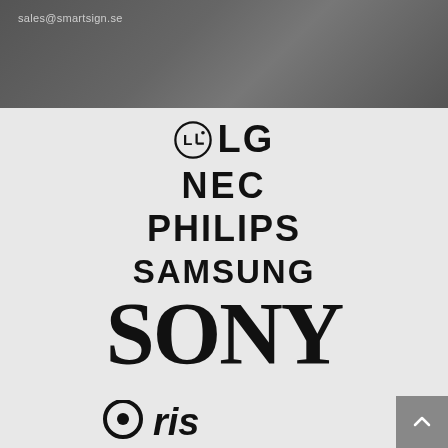sales@smartsign.se
[Figure (logo): LG logo with circle icon containing L-G shapes and text LG]
[Figure (logo): NEC brand logo in bold black letters]
[Figure (logo): PHILIPS brand logo in bold black letters]
[Figure (logo): SAMSUNG brand logo in bold black letters]
[Figure (logo): SONY brand logo in large bold black letters]
[Figure (logo): Partial Oki logo with circular element, partially cut off at bottom]